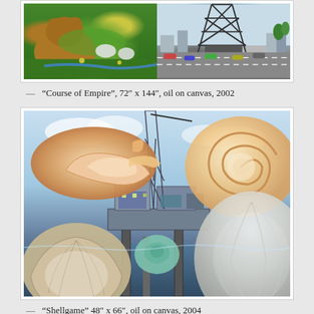[Figure (illustration): Painting 'Course of Empire' showing a diptych with a bear/nature scene on the left and an oil derrick/freeway scene on the right, oil on canvas, 2002]
— “Course of Empire”, 72” x 144”, oil on canvas, 2002
[Figure (illustration): Painting 'Shellgame' showing an oil platform surrounded by large sea shells (conch, nautilus, clam) in blue water with sky, oil on canvas, 2004]
— “Shellgame” 48” x 66”, oil on canvas, 2004